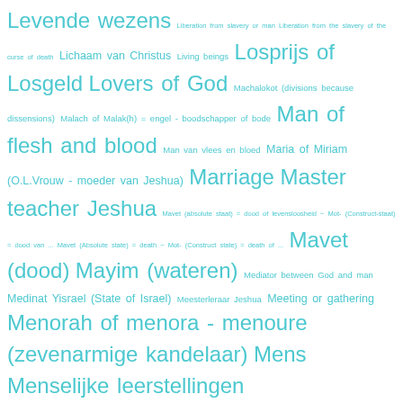Levende wezens Liberation from slavery or man Liberation from the slavery of the curse of death Lichaam van Christus Living beings Losprijs of Losgeld Lovers of God Machalokot (divisions because dissensions) Malach of Malak(h) = engel - boodschapper of bode Man of flesh and blood Man van vlees en bloed Maria of Miriam (O.L.Vrouw - moeder van Jeshua) Marriage Master teacher Jeshua Mavet (absolute staat) = dood of levensloosheid ~ Mot- (Construct-staat) = dood van ... Mavet (Absolute state) = death ~ Mot- (Construct state) = death of ... Mavet (dood) Mayim (wateren) Mediator between God and man Medinat Yisrael (State of Israel) Meesterleraar Jeshua Meeting or gathering Menorah of menora - menoure (zevenarmige kandelaar) Mens Menselijke leerstellingen Mensenzoon Messiaanse groepen Messiaanse Joden Messiaansen Messiah (Anointed one) or Kristos (Christ) Messianic Gentile Messianic Jews Messianic Judaism Messianic Judaism or Nazarene Judaism Messianics Messianic Scriptures Messias Messias belijdende Joden Methuselah or Methusael